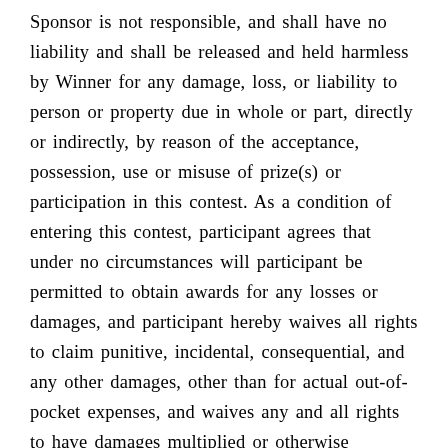Sponsor is not responsible, and shall have no liability and shall be released and held harmless by Winner for any damage, loss, or liability to person or property due in whole or part, directly or indirectly, by reason of the acceptance, possession, use or misuse of prize(s) or participation in this contest. As a condition of entering this contest, participant agrees that under no circumstances will participant be permitted to obtain awards for any losses or damages, and participant hereby waives all rights to claim punitive, incidental, consequential, and any other damages, other than for actual out-of-pocket expenses, and waives any and all rights to have damages multiplied or otherwise increased. Sponsor reserves the right, in its sole discretion, to cancel or suspend the contest. If, in the Contest Administrator's opinion, there is any suspected or actual evidence of electronic or non-electronic tampering with any portion of the contest, or if technical difficulties compromise the integrity of the